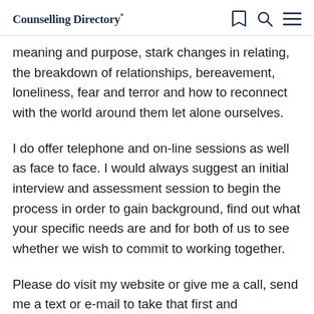Counselling Directory*
meaning and purpose, stark changes in relating, the breakdown of relationships, bereavement, loneliness, fear and terror and how to reconnect with the world around them let alone ourselves.
I do offer telephone and on-line sessions as well as face to face. I would always suggest an initial interview and assessment session to begin the process in order to gain background, find out what your specific needs are and for both of us to see whether we wish to commit to working together.
Please do visit my website or give me a call, send me a text or e-mail to take that first and courageous step